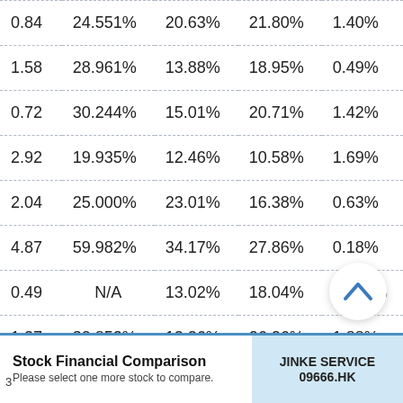| 0.84 | 24.551% | 20.63% | 21.80% | 1.40% |
| 1.58 | 28.961% | 13.88% | 18.95% | 0.49% |
| 0.72 | 30.244% | 15.01% | 20.71% | 1.42% |
| 2.92 | 19.935% | 12.46% | 10.58% | 1.69% |
| 2.04 | 25.000% | 23.01% | 16.38% | 0.63% |
| 4.87 | 59.982% | 34.17% | 27.86% | 0.18% |
| 0.49 | N/A | 13.02% | 18.04% | 37.97% |
| 1.37 | 30.852% | 12.26% | 26.26% | 1.88% |
Stock Financial Comparison
Please select one more stock to compare.
JINKE SERVICE
09666.HK